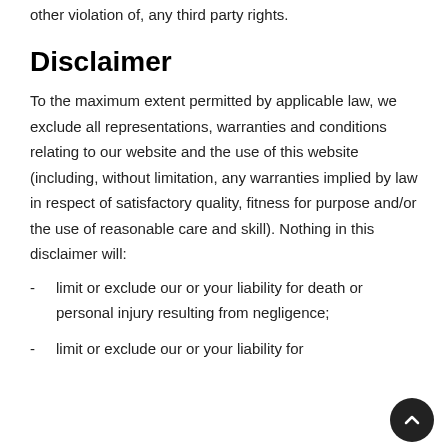other violation of, any third party rights.
Disclaimer
To the maximum extent permitted by applicable law, we exclude all representations, warranties and conditions relating to our website and the use of this website (including, without limitation, any warranties implied by law in respect of satisfactory quality, fitness for purpose and/or the use of reasonable care and skill). Nothing in this disclaimer will:
limit or exclude our or your liability for death or personal injury resulting from negligence;
limit or exclude our or your liability for